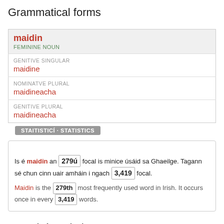Grammatical forms
| Form | Value |
| --- | --- |
| maidin / FEMININE NOUN |  |
| GENITIVE SINGULAR | maidine |
| NOMINATVE PLURAL | maidineacha |
| GENITIVE PLURAL | maidineacha |
STAITISTICÍ · STATISTICS
Is é maidin an 279ú focal is minice úsáid sa Ghaeilge. Tagann sé chun cinn uair amháin i ngach 3,419 focal.
Maidin is the 279th most frequently used word in Irish. It occurs once in every 3,419 words.
Samplaí gaolmhara